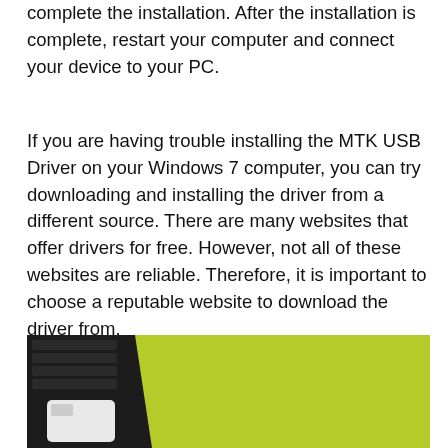complete the installation. After the installation is complete, restart your computer and connect your device to your PC.
If you are having trouble installing the MTK USB Driver on your Windows 7 computer, you can try downloading and installing the driver from a different source. There are many websites that offer drivers for free. However, not all of these websites are reliable. Therefore, it is important to choose a reputable website to download the driver from.
[Figure (photo): Photo showing a laptop keyboard (dark/black) and a white USB device or drive against a yellow-green background.]